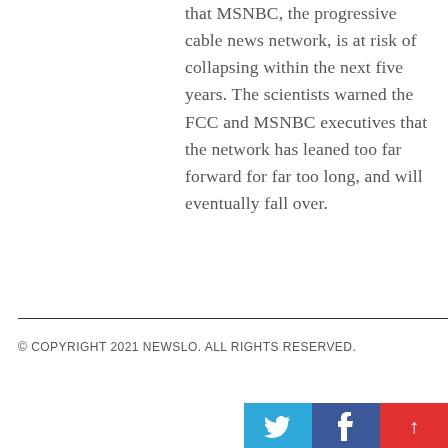that MSNBC, the progressive cable news network, is at risk of collapsing within the next five years. The scientists warned the FCC and MSNBC executives that the network has leaned too far forward for far too long, and will eventually fall over.
© COPYRIGHT 2021 NEWSLO. ALL RIGHTS RESERVED.
[Figure (other): Social media icons: Twitter (blue), Facebook (dark blue), and a red scroll-to-top button with an upward arrow, displayed at the bottom right of the page.]